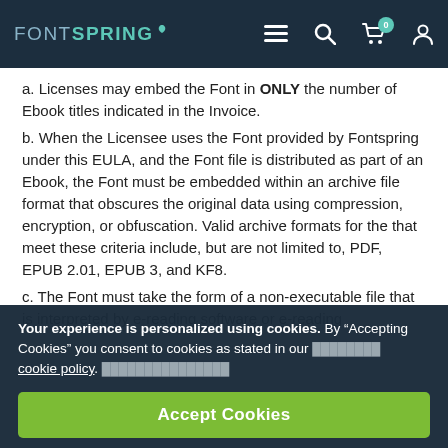FONTSPRING
a. Licenses may embed the Font in ONLY the number of Ebook titles indicated in the Invoice.
b. When the Licensee uses the Font provided by Fontspring under this EULA, and the Font file is distributed as part of an Ebook, the Font must be embedded within an archive file format that obscures the original data using compression, encryption, or obfuscation. Valid archive formats for the that meet these criteria include, but are not limited to, PDF, EPUB 2.01, EPUB 3, and KF8.
c. The Font must take the form of a non-executable file that is interpreted by e-reading software or e-reading
Your experience is personalized using cookies. By “Accepting Cookies” you consent to cookies as stated in our cookie policy.
Accept Cookies